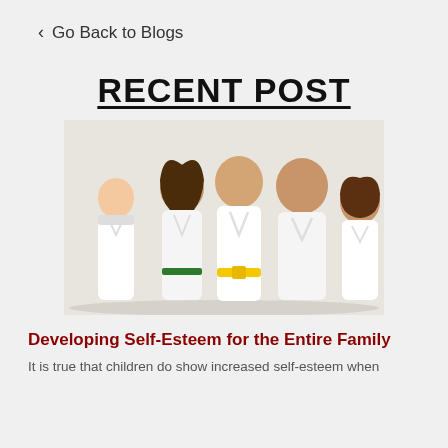< Go Back to Blogs
RECENT POST
[Figure (photo): A family of five wearing white martial arts gi uniforms smiling together. A young girl on the left, a woman with long brown hair, a boy in the center with a yellow belt, an older man, and another boy on the right.]
Developing Self-Esteem for the Entire Family
It is true that children do show increased self-esteem when